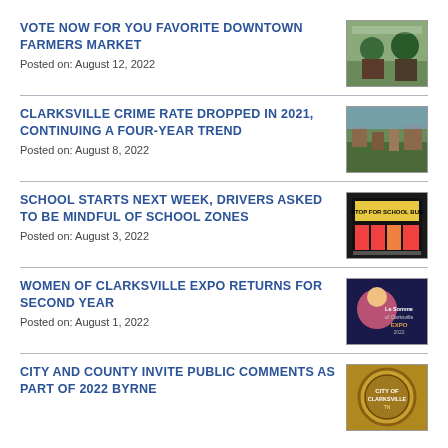VOTE NOW FOR YOU FAVORITE DOWNTOWN FARMERS MARKET
Posted on: August 12, 2022
[Figure (photo): Two people at an outdoor farmers market]
CLARKSVILLE CRIME RATE DROPPED IN 2021, CONTINUING A FOUR-YEAR TREND
Posted on: August 8, 2022
[Figure (photo): Aerial view of Clarksville cityscape]
SCHOOL STARTS NEXT WEEK, DRIVERS ASKED TO BE MINDFUL OF SCHOOL ZONES
Posted on: August 3, 2022
[Figure (photo): Stop for school bus sign]
WOMEN OF CLARKSVILLE EXPO RETURNS FOR SECOND YEAR
Posted on: August 1, 2022
[Figure (photo): Women of Clarksville Expo promotional image]
CITY AND COUNTY INVITE PUBLIC COMMENTS AS PART OF 2022 BYRNE
[Figure (photo): City seal or badge logo]